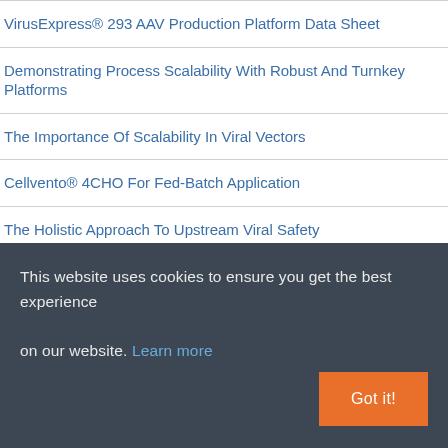VirusExpress® 293 AAV Production Platform Data Sheet
Demonstrating Process Scalability With Robust And Turnkey Platforms
The Importance Of Scalability In Viral Vectors
Cellvento® 4CHO For Fed-Batch Application
The Holistic Approach To Upstream Viral Safety
Mobius® Single-use Bioreactors: Platform Scalability
Considerations For Bioreactor Process Development And Scale…
This website uses cookies to ensure you get the best experience on our website. Learn more
Got it!